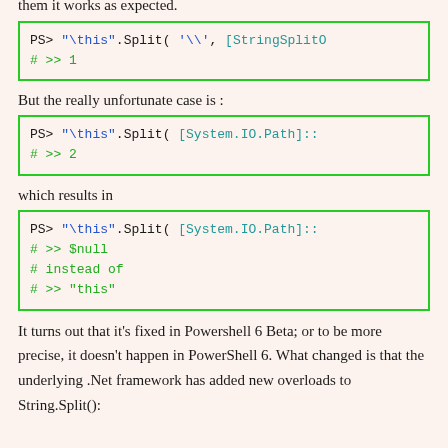them it works as expected.
PS> "\this".Split( '\', [StringSplitO
# >> 1
But the really unfortunate case is :
PS> "\this".Split( [System.IO.Path]::
# >> 2
which results in
PS> "\this".Split( [System.IO.Path]::
# >> $null
# instead of
# >> "this"
It turns out that it's fixed in Powershell 6 Beta; or to be more precise, it doesn't happen in PowerShell 6. What changed is that the underlying .Net framework has added new overloads to String.Split():